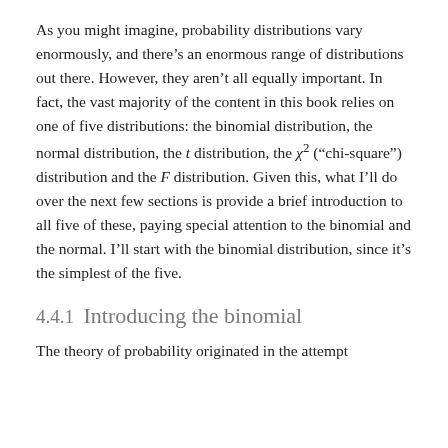As you might imagine, probability distributions vary enormously, and there's an enormous range of distributions out there. However, they aren't all equally important. In fact, the vast majority of the content in this book relies on one of five distributions: the binomial distribution, the normal distribution, the t distribution, the χ² ("chi-square") distribution and the F distribution. Given this, what I'll do over the next few sections is provide a brief introduction to all five of these, paying special attention to the binomial and the normal. I'll start with the binomial distribution, since it's the simplest of the five.
4.4.1 Introducing the binomial
The theory of probability originated in the attempt to describe the outcomes of chance events, since it's the simplest of the five.